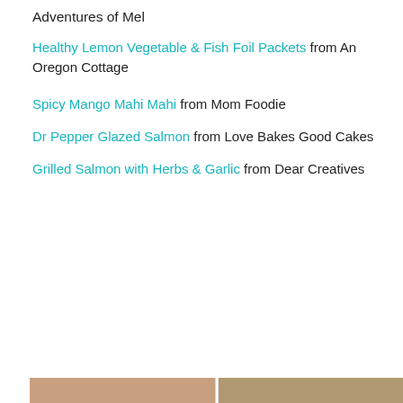Adventures of Mel
Healthy Lemon Vegetable & Fish Foil Packets from An Oregon Cottage
Spicy Mango Mahi Mahi from Mom Foodie
Dr Pepper Glazed Salmon from Love Bakes Good Cakes
Grilled Salmon with Herbs & Garlic from Dear Creatives
[Figure (photo): Collage of four food photos showing fish dishes: glazed salmon with broccoli (large left), whole fish with lemon slices (top right), and fish tacos with colorful toppings (bottom right)]